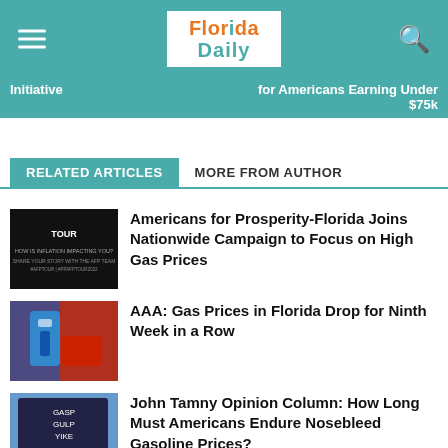Florida Daily
Initiative
for Americans Earning Under $75k
RELATED ARTICLES	MORE FROM AUTHOR
[Figure (photo): Dark background with tour graphic and text about inflation]
Americans for Prosperity-Florida Joins Nationwide Campaign to Focus on High Gas Prices
[Figure (photo): Blue gas pump nozzle inserted into red car]
AAA: Gas Prices in Florida Drop for Ninth Week in a Row
[Figure (photo): Gas station price sign showing GASP, GULP, YIKE with SELF SERVE label]
John Tamny Opinion Column: How Long Must Americans Endure Nosebleed Gasoline Prices?